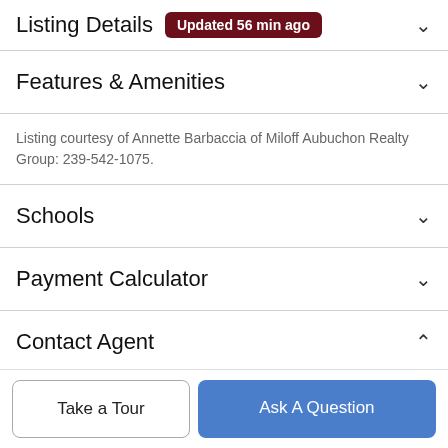Listing Details  Updated 56 min ago
Features & Amenities
Listing courtesy of Annette Barbaccia of Miloff Aubuchon Realty Group: 239-542-1075.
Schools
Payment Calculator
Contact Agent
[Figure (photo): Agent headshot photo, partially visible at bottom of contact section]
Take a Tour
Ask A Question